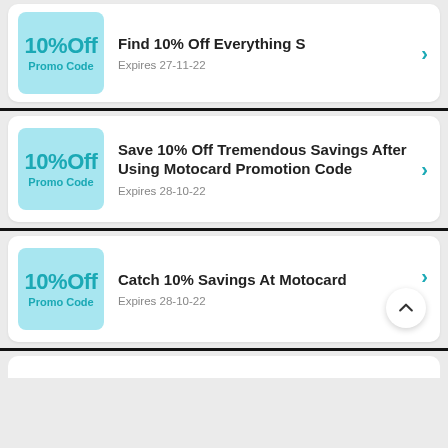[Figure (screenshot): Coupon card 1: 10% Off Promo Code badge, title 'Find 10% Off Everything S', expires 27-11-22]
[Figure (screenshot): Coupon card 2: 10% Off Promo Code badge, title 'Save 10% Off Tremendous Savings After Using Motocard Promotion Code', expires 28-10-22]
[Figure (screenshot): Coupon card 3: 10% Off Promo Code badge, title 'Catch 10% Savings At Motocard', expires 28-10-22, with scroll-to-top button]
[Figure (screenshot): Partial coupon card 4 visible at bottom]